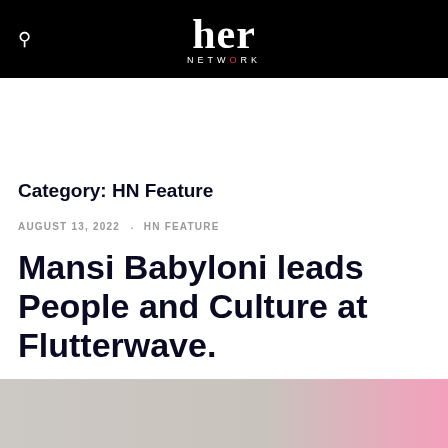her NETWORK
Category: HN Feature
AUGUST 13, 2022 · HN FEATURE
Mansi Babyloni leads People and Culture at Flutterwave.
[Figure (photo): Partial view of a person, pink clothing visible on right side, light grey/neutral background]